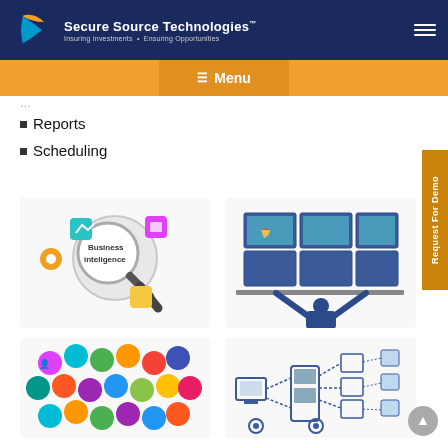Secure Source Technologies™ — Insuring Investments · Ensuring Opportunities
Menu
Reports
Scheduling
[Figure (illustration): Business intelligence magnifying glass with colorful icons]
[Figure (illustration): Person viewing multiple monitor screens with dashboards]
[Figure (illustration): Colorful circular social/technology icons cluster]
[Figure (illustration): Network/technology schematic diagram with connected devices]